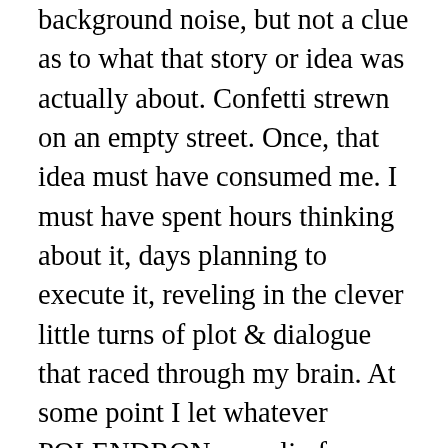background noise, but not a clue as to what that story or idea was actually about. Confetti strewn on an empty street. Once, that idea must have consumed me. I must have spent hours thinking about it, days planning to execute it, reveling in the clever little turns of plot & dialogue that raced through my brain. At some point I let whatever POLENDRON was slip from my brain, because beginning it wasn't exciting any more. I may have even begun writing something with regards to it, but either forgot or moved onto another, newer scribble in my then-notepad.